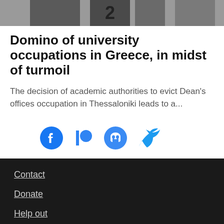[Figure (photo): Photo strip showing people in dark jerseys or clothing, partially cropped at the top of the page]
Domino of university occupations in Greece, in midst of turmoil
The decision of academic authorities to evict Dean's offices occupation in Thessaloniki leads to a...
[Figure (infographic): Social media icons: Facebook, Patreon, Mastodon, Twitter in blue color]
Contact
Donate
Help out
Other languages